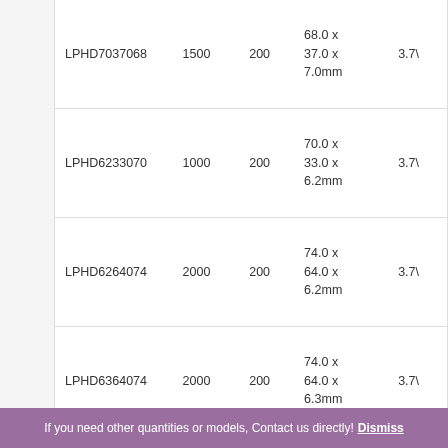| Model | Capacitance | Voltage | Dimensions | ESR |
| --- | --- | --- | --- | --- |
| LPHD7037068 | 1500 | 200 | 68.0 x 37.0 x 7.0mm | 3.7\ |
| LPHD6233070 | 1000 | 200 | 70.0 x 33.0 x 6.2mm | 3.7\ |
| LPHD6264074 | 2000 | 200 | 74.0 x 64.0 x 6.2mm | 3.7\ |
| LPHD6364074 | 2000 | 200 | 74.0 x 64.0 x 6.3mm | 3.7\ |
| LPHD5516075 | 530 | 200 | 75.0 x 16.0 x 5.5mm | 3.7\ |
| LPHD8045075 | 1900 | 200 | 75.0 x 45.0 x 8.0mm | 3.7\ |
|  |  |  | 76.0 x ... |  |
If you need other quantities or models, Contact us directly! Dismiss